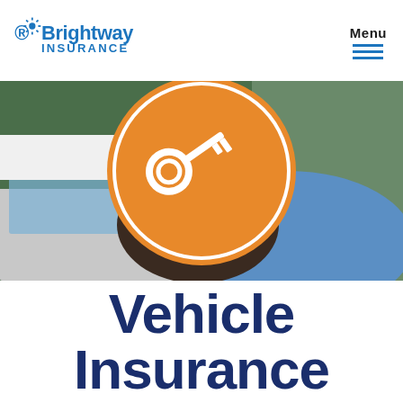Brightway Insurance | Menu
[Figure (photo): Hero image showing a man in a blue shirt bending over, possibly distressed after a vehicle incident. An orange circle with a white key/document icon overlays the upper portion of the image. Background shows a car and greenery.]
Vehicle Insurance